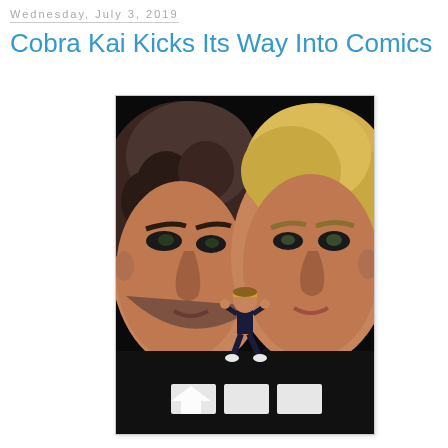Wednesday, July 3, 2019
Cobra Kai Kicks Its Way Into Comics
[Figure (illustration): Comic book style illustration showing two large caricatured faces facing each other (one dark-haired on the left, one blonde on the right), with a smaller martial arts fighter in a fighting stance between them in the middle ground, and a crowd of silhouettes in the background. A red floor with white rectangular mats is visible at the bottom.]